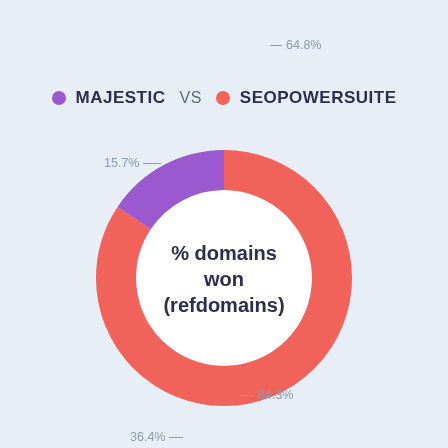[Figure (donut-chart): % domains won (refdomains)]
MAJESTIC VS SEOPOWERSUITE
64.8%
15.7%
84.3%
36.4%